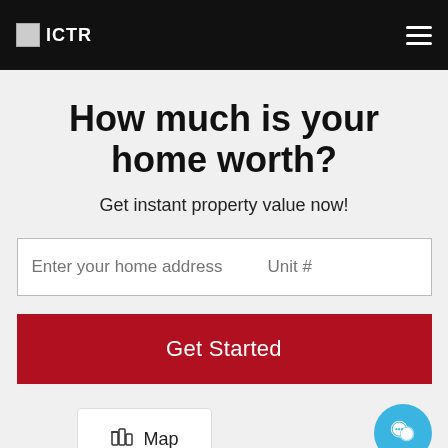ICTR
How much is your home worth?
Get instant property value now!
Enter your home address | Unit #
Get Started
Map